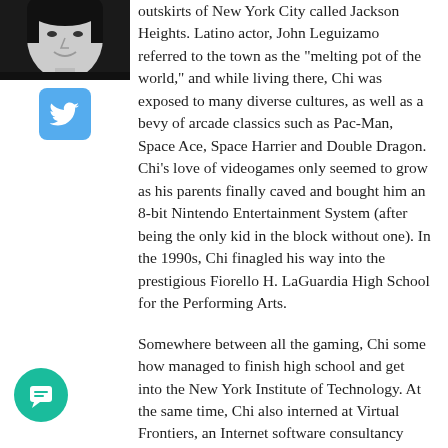[Figure (photo): Black and white profile photo of a person, cropped to head and shoulders]
[Figure (logo): Twitter bird logo icon on a light blue rounded square background]
outskirts of New York City called Jackson Heights. Latino actor, John Leguizamo referred to the town as the "melting pot of the world," and while living there, Chi was exposed to many diverse cultures, as well as a bevy of arcade classics such as Pac-Man, Space Ace, Space Harrier and Double Dragon. Chi's love of videogames only seemed to grow as his parents finally caved and bought him an 8-bit Nintendo Entertainment System (after being the only kid in the block without one). In the 1990s, Chi finagled his way into the prestigious Fiorello H. LaGuardia High School for the Performing Arts.
Somewhere between all the gaming, Chi some how managed to finish high school and get into the New York Institute of Technology. At the same time, Chi also interned at Virtual Frontiers, an Internet software consultancy where he learned the ways of HTML. Soon after acquiring his BFA, Chi went on to become the lead Web designer of the Anti-Defamation League. During
[Figure (illustration): Teal circular chat/message button with white speech bubble icon]